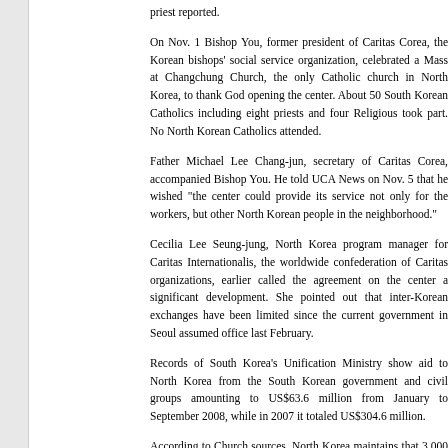priest reported.
On Nov. 1 Bishop You, former president of Caritas Corea, the Korean bishops' social service organization, celebrated a Mass at Changchung Church, the only Catholic church in North Korea, to thank God opening the center. About 50 South Korean Catholics including eight priests and four Religious took part. No North Korean Catholics attended.
Father Michael Lee Chang-jun, secretary of Caritas Corea, accompanied Bishop You. He told UCA News on Nov. 5 that he wished "the center could provide its service not only for the workers, but other North Korean people in the neighborhood."
Cecilia Lee Seung-jung, North Korea program manager for Caritas Internationalis, the worldwide confederation of Caritas organizations, earlier called the agreement on the center a significant development. She pointed out that inter-Korean exchanges have been limited since the current government in Seoul assumed office last February.
Records of South Korea's Unification Ministry show aid to North Korea from the South Korean government and civil groups amounting to US$63.6 million from January to September 2008, while in 2007 it totaled US$304.6 million.
According to Church sources, North Korea maintains that 3,000 Catholics in North Korea practice their faith at "home worship places" across the country, with no residing priest or nun. Between 1949